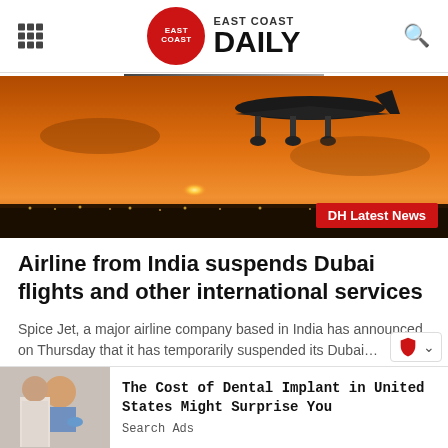East Coast Daily
[Figure (photo): Airplane landing at sunset over a runway, orange sky, DH Latest News badge overlay]
Airline from India suspends Dubai flights and other international services
Spice Jet, a major airline company based in India has announced on Thursday that it has temporarily suspended its Dubai…
The Cost of Dental Implant in United States Might Surprise You
Search Ads